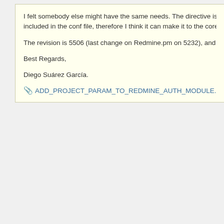I felt somebody else might have the same needs. The directive is optional and t included in the conf file, therefore I think it can make it to the core.
The revision is 5506 (last change on Redmine.pm on 5232), and it's the trunk ve
Best Regards,
Diego Suárez García.
📎 ADD_PROJECT_PARAM_TO_REDMINE_AUTH_MODULE.diff 🔍 (1.48 K